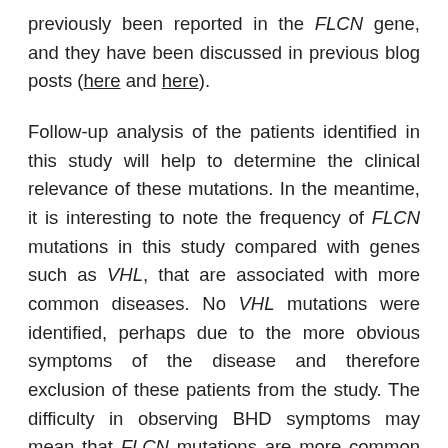previously been reported in the FLCN gene, and they have been discussed in previous blog posts (here and here).
Follow-up analysis of the patients identified in this study will help to determine the clinical relevance of these mutations. In the meantime, it is interesting to note the frequency of FLCN mutations in this study compared with genes such as VHL, that are associated with more common diseases. No VHL mutations were identified, perhaps due to the more obvious symptoms of the disease and therefore exclusion of these patients from the study. The difficulty in observing BHD symptoms may mean that FLCN mutations are more common than previously thought.